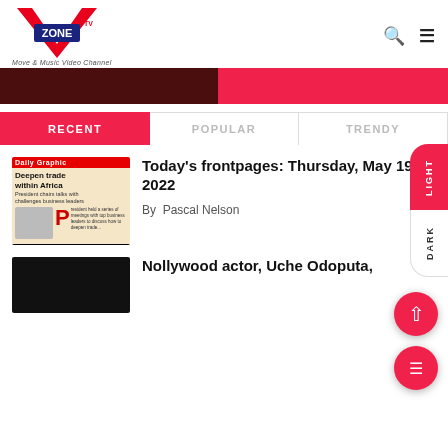[Figure (logo): VZone TV logo with red V shape and blue ZONE text, tagline: Move & Music Video Channel]
[Figure (screenshot): Two banner images: dark maroon left banner and bright pink/red right banner]
[Figure (infographic): LIGHT / DARK toggle pill on right side]
RECENT | POPULAR | TRENDY
[Figure (photo): Thumbnail of Daily Graphic newspaper front page with headline Deepen trade within Africa]
Today's frontpages: Thursday, May 19, 2022
By  Pascal Nelson
[Figure (photo): Dark thumbnail image for Nollywood actor article]
Nollywood actor, Uche Odoputa,